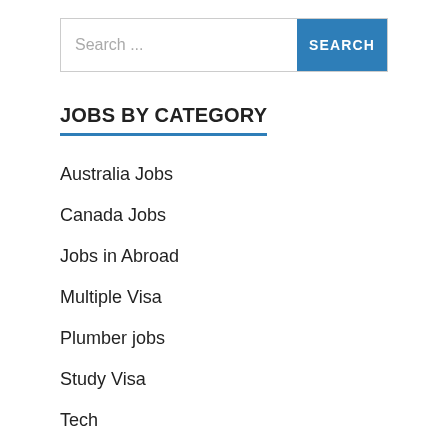JOBS BY CATEGORY
Australia Jobs
Canada Jobs
Jobs in Abroad
Multiple Visa
Plumber jobs
Study Visa
Tech
Uncategorized
Work Visa